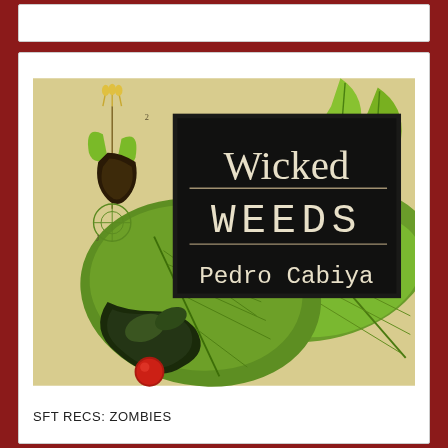[Figure (photo): Book cover of 'Wicked Weeds' by Pedro Cabiya. Dark/black rectangle with serif title text 'Wicked WEEDS' and author name 'Pedro Cabiya' in typewriter font, overlaid on a botanical illustration of large green leaves and plant anatomy diagrams on a cream/tan background.]
SFT RECS: ZOMBIES